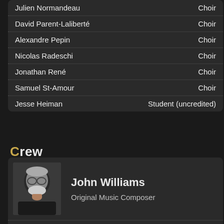Julien Normandeau — Choir
David Parent-Laliberté — Choir
Alexandre Pepin — Choir
Nicolas Radeschi — Choir
Jonathan René — Choir
Samuel St-Amour — Choir
Jesse Heiman — Student (uncredited)
Crew
[Figure (photo): Black and white portrait photo of John Williams, an elderly man with glasses and white beard, resting his chin on his hand]
John Williams — Original Music Composer
Debra Zane — Casting